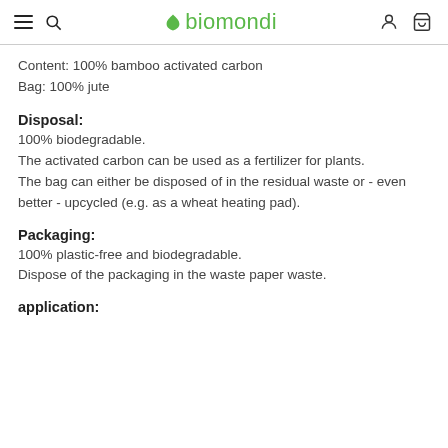biomondi
Content: 100% bamboo activated carbon
Bag: 100% jute
Disposal:
100% biodegradable.
The activated carbon can be used as a fertilizer for plants.
The bag can either be disposed of in the residual waste or - even better - upcycled (e.g. as a wheat heating pad).
Packaging:
100% plastic-free and biodegradable.
Dispose of the packaging in the waste paper waste.
application: